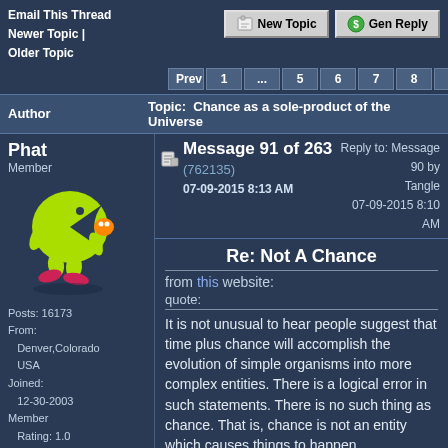Email This Thread
Newer Topic | Older Topic
New Topic   Gen Reply
Prev 1 ... 5 6 7 8 9 ... 18 Next FF
| Author | Topic: Chance as a sole-product of the Universe |
| --- | --- |
| Phat
Member | Message 91 of 263 (762135)
07-09-2015 8:13 AM
Reply to: Message 90 by Tangle
07-09-2015 8:10 AM |
| [avatar] | Re: Not A Chance

from this website:
quote:
It is not unusual to hear people suggest that time plus chance will accomplish the evolution of simple organisms into more complex entities. There is a logical error in such statements. There is no such thing as chance. That is, chance is not an entity which causes things to happen. |
Posts: 16173
From:
    Denver,Colorado
    USA
Joined:
    12-30-2003
Member
    Rating: 1.0
Phat Posts Only